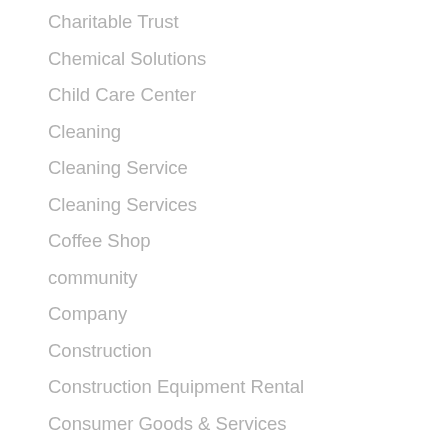Charitable Trust
Chemical Solutions
Child Care Center
Cleaning
Cleaning Service
Cleaning Services
Coffee Shop
community
Company
Construction
Construction Equipment Rental
Consumer Goods & Services
Container Supplier
Contractors
Conveyor Rollers Manufacturer